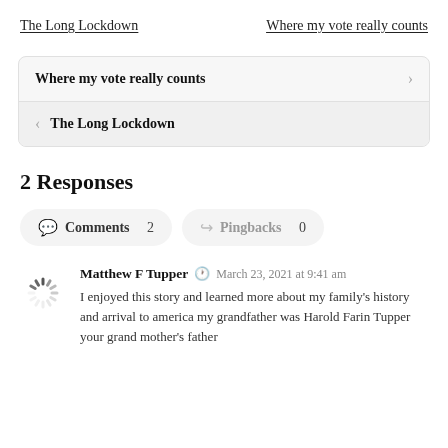The Long Lockdown
Where my vote really counts
Where my vote really counts >
< The Long Lockdown
2 Responses
Comments 2
Pingbacks 0
Matthew F Tupper  March 23, 2021 at 9:41 am
I enjoyed this story and learned more about my family's history and arrival to america my grandfather was Harold Farin Tupper your grand mother's father